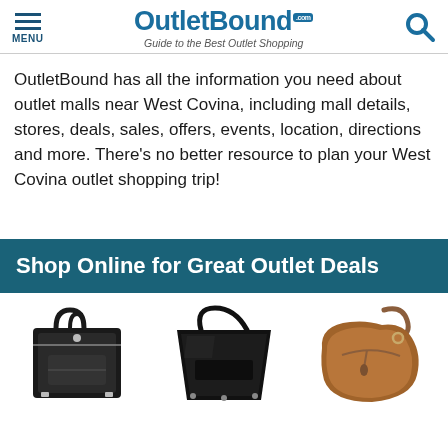MENU | OutletBound.com – Guide to the Best Outlet Shopping
OutletBound has all the information you need about outlet malls near West Covina, including mall details, stores, deals, sales, offers, events, location, directions and more. There's no better resource to plan your West Covina outlet shopping trip!
Shop Online for Great Outlet Deals
[Figure (photo): Three handbags/purses shown side by side: a black structured tote, a black patent tote, and a brown slouchy hobo bag.]